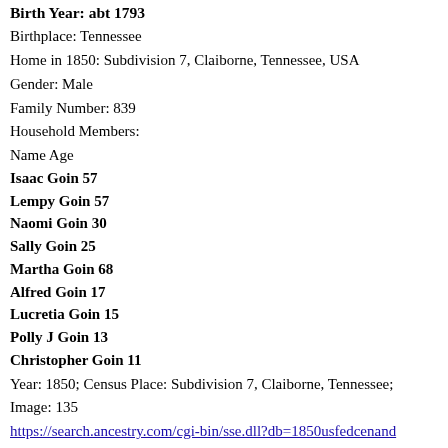Birth Year: abt 1793
Birthplace: Tennessee
Home in 1850: Subdivision 7, Claiborne, Tennessee, USA
Gender: Male
Family Number: 839
Household Members:
Name Age
Isaac Goin 57
Lempy Goin 57
Naomi Goin 30
Sally Goin 25
Martha Goin 68
Alfred Goin 17
Lucretia Goin 15
Polly J Goin 13
Christopher Goin 11
Year: 1850; Census Place: Subdivision 7, Claiborne, Tennessee;
Image: 135
https://search.ancestry.com/cgi-bin/sse.dll?db=1850usfedcenand